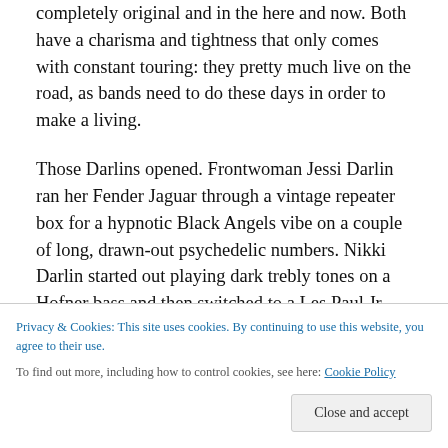completely original and in the here and now. Both have a charisma and tightness that only comes with constant touring: they pretty much live on the road, as bands need to do these days in order to make a living.
Those Darlins opened. Frontwoman Jessi Darlin ran her Fender Jaguar through a vintage repeater box for a hypnotic Black Angels vibe on a couple of long, drawn-out psychedelic numbers. Nikki Darlin started out playing dark trebly tones on a Hofner bass and then switched to a Les Paul Jr. Kelley Darlin played sweet, vicious Telecaster leads until midway through the set, when she took over
Privacy & Cookies: This site uses cookies. By continuing to use this website, you agree to their use.
To find out more, including how to control cookies, see here: Cookie Policy
important to the band as their museum's worth of guitars).